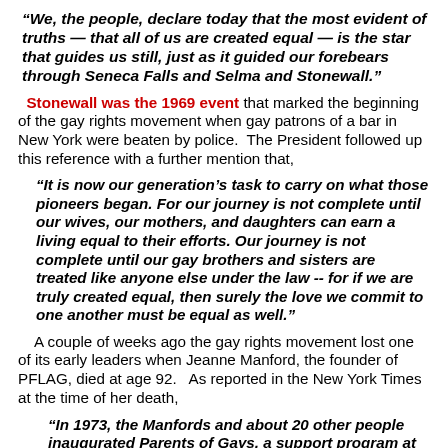“We, the people, declare today that the most evident of truths — that all of us are created equal — is the star that guides us still, just as it guided our forebears through Seneca Falls and Selma and Stonewall.”
Stonewall was the 1969 event that marked the beginning of the gay rights movement when gay patrons of a bar in New York were beaten by police.  The President followed up this reference with a further mention that,
“It is now our generation’s task to carry on what those pioneers began. For our journey is not complete until our wives, our mothers, and daughters can earn a living equal to their efforts. Our journey is not complete until our gay brothers and sisters are treated like anyone else under the law -- for if we are truly created equal, then surely the love we commit to one another must be equal as well.”
A couple of weeks ago the gay rights movement lost one of its early leaders when Jeanne Manford, the founder of PFLAG, died at age 92.   As reported in the New York Times at the time of her death,
“In 1973, the Manfords and about 20 other people inaugurated Parents of Gays, a support program at